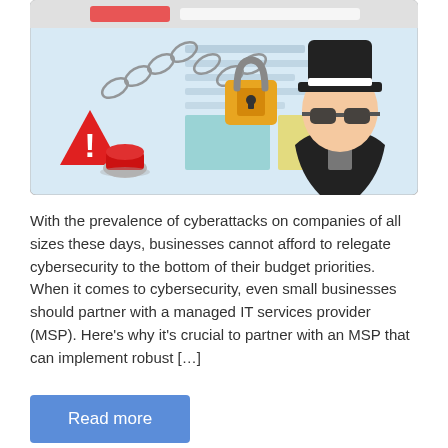[Figure (illustration): Cybersecurity illustration showing a hacker figure in a black hat and glasses, a padlock with chains, a warning triangle with exclamation mark, and a red alarm light, all in front of a web browser window background.]
With the prevalence of cyberattacks on companies of all sizes these days, businesses cannot afford to relegate cybersecurity to the bottom of their budget priorities. When it comes to cybersecurity, even small businesses should partner with a managed IT services provider (MSP). Here's why it's crucial to partner with an MSP that can implement robust […]
Read more